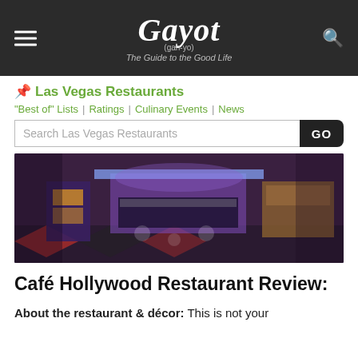Gayot (gah-yo) — The Guide to the Good Life
Las Vegas Restaurants
"Best of" Lists | Ratings | Culinary Events | News
Search Las Vegas Restaurants GO
[Figure (photo): Interior of Café Hollywood restaurant showing a buffet-style setup with purple/blue accent lighting, display cases with food, wooden cabinetry, and a colorful geometric patterned floor.]
Café Hollywood Restaurant Review:
About the restaurant & décor: This is not your